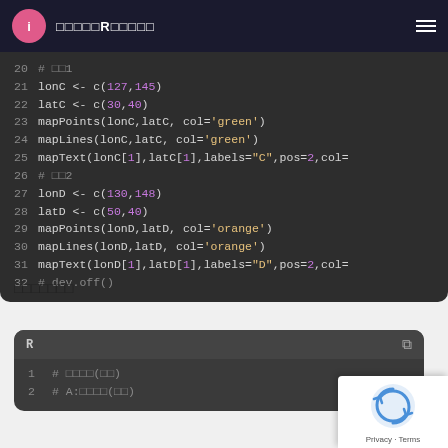R (navbar with logo and title)
20 # □□1
21 lonC <- c(127,145)
22 latC <- c(30,40)
23 mapPoints(lonC,latC, col='green')
24 mapLines(lonC,latC, col='green')
25 mapText(lonC[1],latC[1],labels="C",pos=2,col=
26 # □□2
27 lonD <- c(130,148)
28 latD <- c(50,40)
29 mapPoints(lonD,latD, col='orange')
30 mapLines(lonD,latD, col='orange')
31 mapText(lonD[1],latD[1],labels="D",pos=2,col=
32 # dev.off()
□□□□□□□
1 # □□□□(□□)
2 # A:□□□□(□□)